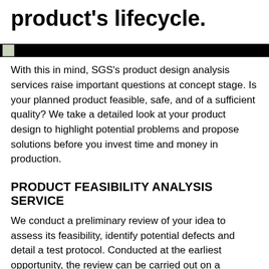product's lifecycle.
[Figure (photo): Black banner bar with a small thumbnail image icon on the left side]
With this in mind, SGS's product design analysis services raise important questions at concept stage. Is your planned product feasible, safe, and of a sufficient quality? We take a detailed look at your product design to highlight potential problems and propose solutions before you invest time and money in production.
PRODUCT FEASIBILITY ANALYSIS SERVICE
We conduct a preliminary review of your idea to assess its feasibility, identify potential defects and detail a test protocol. Conducted at the earliest opportunity, the review can be carried out on a conceptual drawing, a technical drawing, an existing prototype or an actual